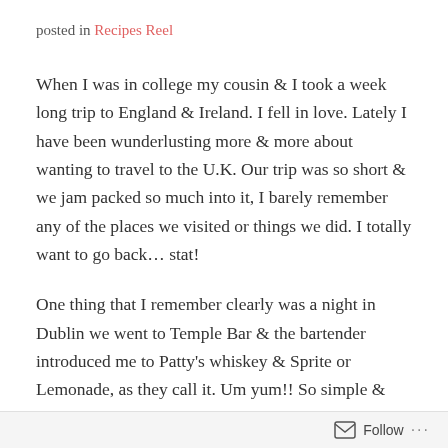posted in Recipes Reel
When I was in college my cousin & I took a week long trip to England & Ireland. I fell in love. Lately I have been wunderlusting more & more about wanting to travel to the U.K. Our trip was so short & we jam packed so much into it, I barely remember any of the places we visited or things we did. I totally want to go back... stat!
One thing that I remember clearly was a night in Dublin we went to Temple Bar & the bartender introduced me to Patty's whiskey & Sprite or Lemonade, as they call it. Um yum!! So simple & tasty. This was where I started to enjoy whiskey & not cover it up with a ton of heavy colas.
Follow